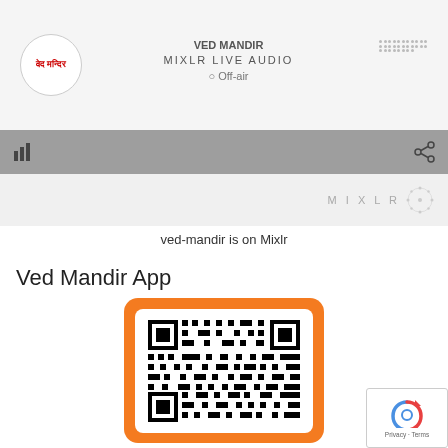[Figure (screenshot): Mixlr live audio app interface showing a circular logo with Hindi text 'वेद मन्दिर', MIXLR LIVE AUDIO label, Off-air status, toolbar with bar chart icon and share icon, and Mixlr branding with dots pattern]
ved-mandir is on Mixlr
Ved Mandir App
[Figure (other): QR code for Ved Mandir App displayed inside an orange rounded rectangle frame]
[Figure (other): reCAPTCHA badge with Privacy and Terms links]